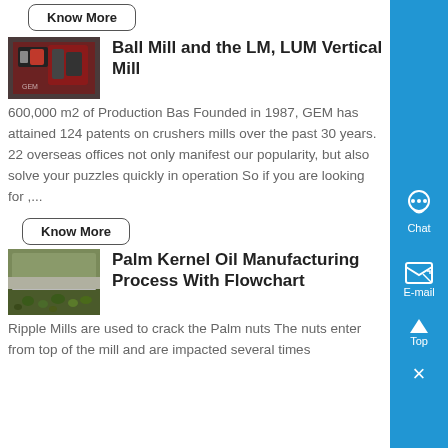Know More
[Figure (photo): Photo of industrial ball mill equipment, red machinery visible]
Ball Mill and the LM, LUM Vertical Mill
600,000 m2 of Production Bas Founded in 1987, GEM has attained 124 patents on crushers mills over the past 30 years. 22 overseas offices not only manifest our popularity, but also solve your puzzles quickly in operation So if you are looking for ,...
Know More
[Figure (photo): Photo of palm kernel oil manufacturing facility, green nuts visible under a concrete structure]
Palm Kernel Oil Manufacturing Process With Flowchart
Ripple Mills are used to crack the Palm nuts The nuts enter from top of the mill and are impacted several times